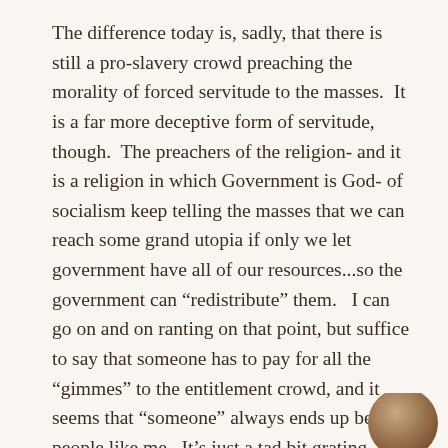The difference today is, sadly, that there is still a pro-slavery crowd preaching the morality of forced servitude to the masses.  It is a far more deceptive form of servitude, though.  The preachers of the religion- and it is a religion in which Government is God- of socialism keep telling the masses that we can reach some grand utopia if only we let government have all of our resources...so the government can “redistribute” them.   I can go on and on ranting on that point, but suffice to say that someone has to pay for all the “gimmes” to the entitlement crowd, and it seems that “someone” always ends up being people like me.  It’s just a tad bit grating knowing that all the money I pay out in taxes and insurances goes toward other people getting (for free) things I can’t afford.  If I think about it too much, it really pisses me off.
[Figure (photo): Partial view of a person's head/hair visible at the bottom right corner of the page]